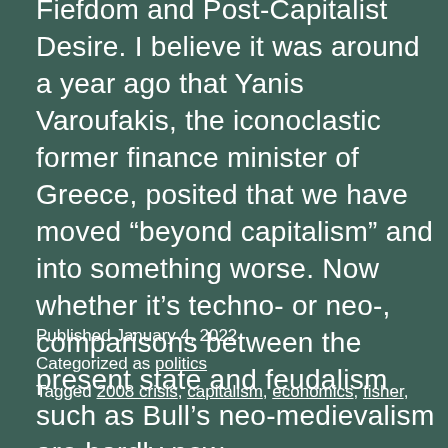Fiefdom and Post-Capitalist Desire. I believe it was around a year ago that Yanis Varoufakis, the iconoclastic former finance minister of Greece, posited that we have moved “beyond capitalism” and into something worse. Now whether it’s techno- or neo-, comparisons between the present state and feudalism such as Bull’s neo-medievalism are hardly new.
Published January 4, 2022
Categorized as politics
Tagged 2008 crisis, capitalism, economics, fisher,